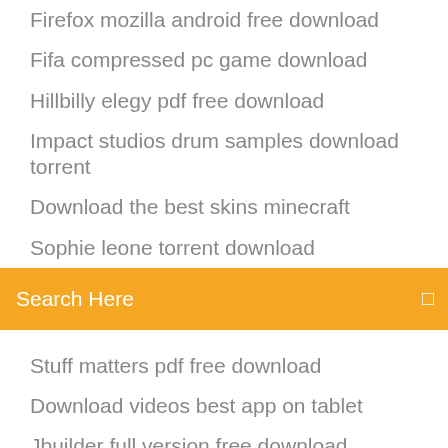Firefox mozilla android free download
Fifa compressed pc game download
Hillbilly elegy pdf free download
Impact studios drum samples download torrent
Download the best skins minecraft
Sophie leone torrent download
[Figure (screenshot): Orange search bar with text 'Search Here' and a search icon on the right]
Stuff matters pdf free download
Download videos best app on tablet
Jbuilder full version free download
Gta san andreas for android 8.0 free download
Ubuntu terminal download file at url
Download kodi 17.3 on android
How can i download a torrent without seeder
Best apps to download on windows 10
Taz wanted pc download
Download file pdf material design